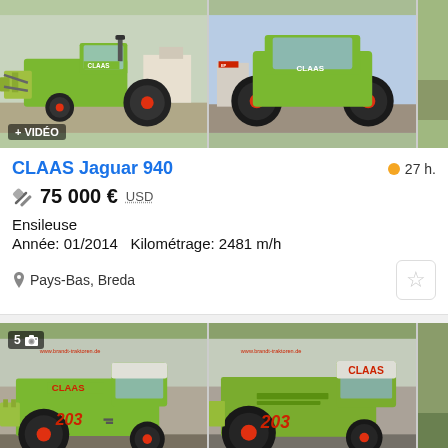[Figure (photo): Two photos of a CLAAS Jaguar 940 forage harvester, green machine with red wheels, dealer lot background. First photo has a '+ VIDÉO' badge.]
CLAAS Jaguar 940
27 h.
75 000 € USD
Ensileuse
Année: 01/2014  Kilométrage: 2481 m/h
Pays-Bas, Breda
[Figure (photo): Two photos of a CLAAS 203 combine harvester, green machine with red wheels and CLAAS branding. Badge shows '5' photos with camera icon. Website watermark: www.brandt-traktoren.de]